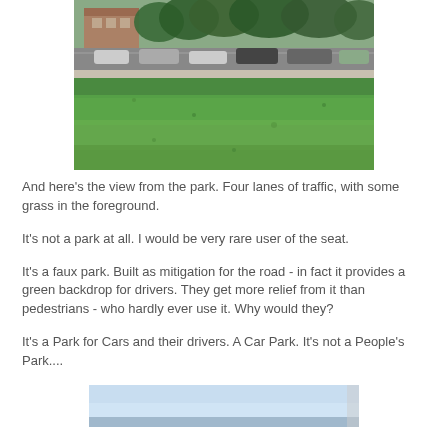[Figure (photo): View from a park showing four lanes of traffic with parked cars and buildings in the background, with a large green grassy area in the foreground]
And here's the view from the park. Four lanes of traffic, with some grass in the foreground.
It's not a park at all. I would be very rare user of the seat.
It's a faux park. Built as mitigation for the road - in fact it provides a green backdrop for drivers. They get more relief from it than pedestrians - who hardly ever use it. Why would they?
It's a Park for Cars and their drivers. A Car Park. It's not a People's Park....
[Figure (photo): Bottom portion of another photo, partially visible, showing sky and possibly a street scene]